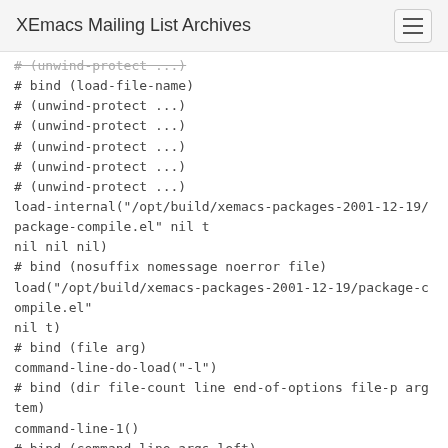XEmacs Mailing List Archives
# (unwind-protect ...)
# bind (load-file-name)
# (unwind-protect ...)
# (unwind-protect ...)
# (unwind-protect ...)
# (unwind-protect ...)
# (unwind-protect ...)
load-internal("/opt/build/xemacs-packages-2001-12-19/package-compile.el" nil t
nil nil nil)
# bind (nosuffix nomessage noerror file)
load("/opt/build/xemacs-packages-2001-12-19/package-compile.el"
nil t)
# bind (file arg)
command-line-do-load("-l")
# bind (dir file-count line end-of-options file-p arg tem)
command-line-1()
# bind (command-line-args-left)
command-line()
# (unwind-protect ...)